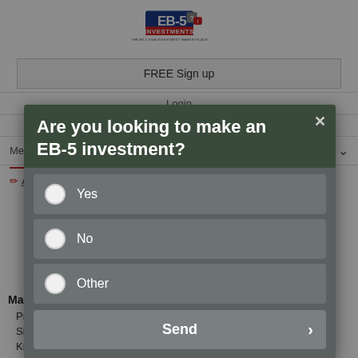[Figure (logo): EB-5 Investments logo — red, white, and blue with question mark and speech bubble icons, subtitle 'THE EB-5 VISA INVESTMENT MARKETPLACE']
FREE Sign up
Login
HOME
The First at One! EB-5 Project Presentations
Menu
About
Are you looking to make an EB-5 investment?
Yes
No
Other
Send
Maggio + Kattar Rating
Profile Completion: Not Rated
Site Activity: Not Rated
Knowledge: Not Rated